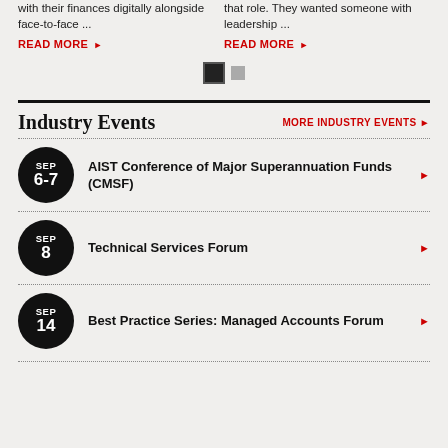with their finances digitally alongside face-to-face ...
that role. They wanted someone with leadership ...
READ MORE
READ MORE
Industry Events
MORE INDUSTRY EVENTS
SEP 6-7 AIST Conference of Major Superannuation Funds (CMSF)
SEP 8 Technical Services Forum
SEP 14 Best Practice Series: Managed Accounts Forum